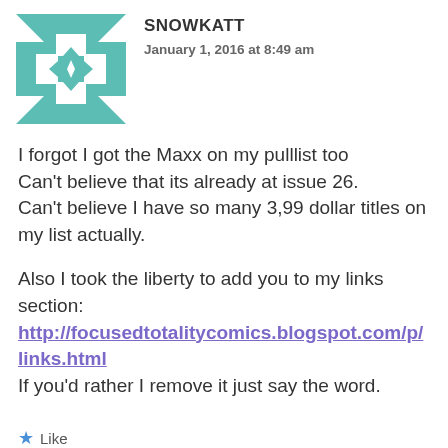SNOWKATT
January 1, 2016 at 8:49 am
I forgot I got the Maxx on my pulllist too
Can't believe that its already at issue 26.
Can't believe I have so many 3,99 dollar titles on my list actually.
Also I took the liberty to add you to my links section:
http://focusedtotalitycomics.blogspot.com/p/links.html
If you'd rather I remove it just say the word.
Like
REPLY